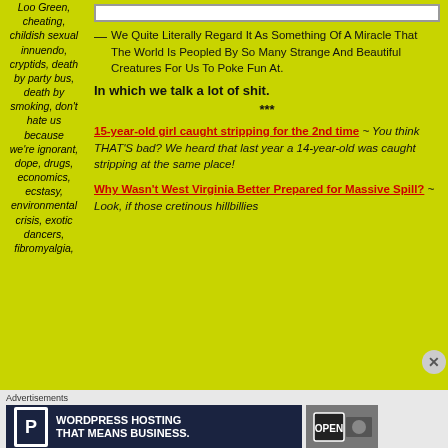Loo Green, cheating, childish sexual innuendo, cryptids, death by party bus, death by smoking, don't hate us because we're ignorant, dope, drugs, economics, ecstasy, environmental crisis, exotic dancers, fibromyalgia,
— We Quite Literally Regard It As Something Of A Miracle That The World Is Peopled By So Many Strange And Beautiful Creatures For Us To Poke Fun At.
In which we talk a lot of shit.
***
15-year-old girl caught stripping for the 2nd time ~ You think THAT'S bad? We heard that last year a 14-year-old was caught stripping at the same place!
Why Wasn't West Virginia Better Prepared for Massive Spill? ~ Look, if those cretinous hillbillies
Advertisements
[Figure (photo): WordPress hosting advertisement banner reading 'WORDPRESS HOSTING THAT MEANS BUSINESS.' with a P logo and an OPEN sign photo]